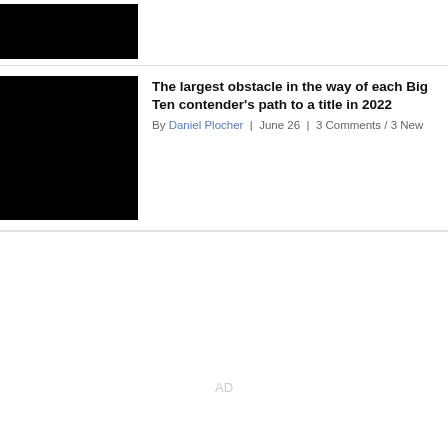[Figure (photo): Redacted/black thumbnail image for first article]
[Figure (photo): Redacted/black thumbnail image for second article]
The largest obstacle in the way of each Big Ten contender's path to a title in 2022
By Daniel Plocher | June 26 | 3 Comments / 3 New
AD